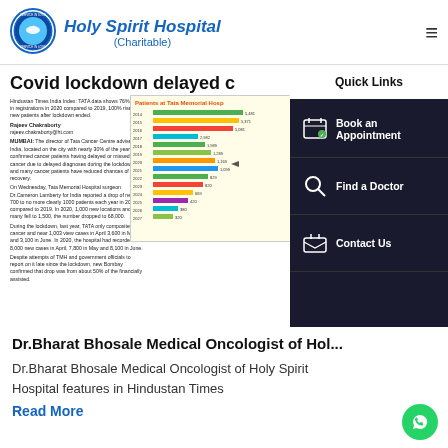[Figure (logo): Holy Spirit Hospital circular logo with dove and 'Service in Love' text]
Holy Spirit Hospital (Charitable)
[Figure (screenshot): Newspaper article screenshot: Covid lockdown delayed cancer diagnoses, with bar chart showing Patients at Tata Memorial Hospital and sub-article on Thane vaccination]
Quick Links
Book an Appointment
Find a Doctor
Contact Us
Dr.Bharat Bhosale Medical Oncologist of Hol...
Dr.Bharat Bhosale Medical Oncologist of Holy Spirit Hospital features in Hindustan Times
Read More